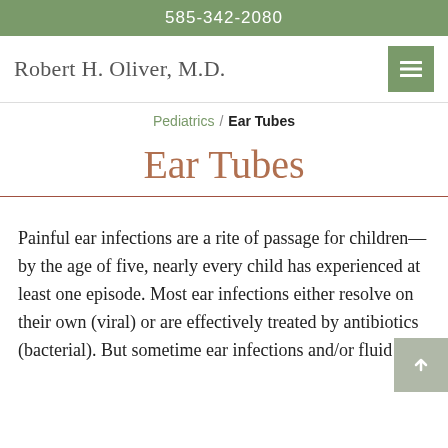585-342-2080
Robert H. Oliver, M.D.
Pediatrics / Ear Tubes
Ear Tubes
Painful ear infections are a rite of passage for children—by the age of five, nearly every child has experienced at least one episode. Most ear infections either resolve on their own (viral) or are effectively treated by antibiotics (bacterial). But sometimes ear infections and/or fluid in th...